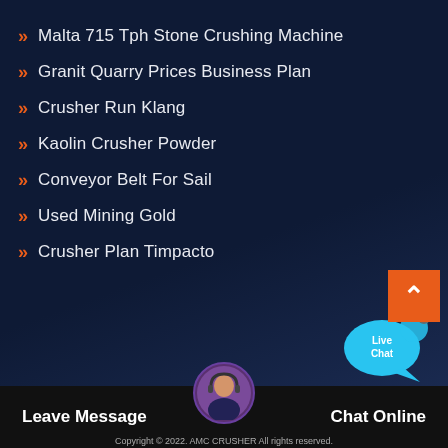Malta 715 Tph Stone Crushing Machine
Granit Quarry Prices Business Plan
Crusher Run Klang
Kaolin Crusher Powder
Conveyor Belt For Sail
Used Mining Gold
Crusher Plan Timpacto
[Figure (illustration): Live Chat button with blue speech bubble and headset avatar]
Leave Message   Chat Online   Copyright © 2022. AMC CRUSHER All rights reserved.